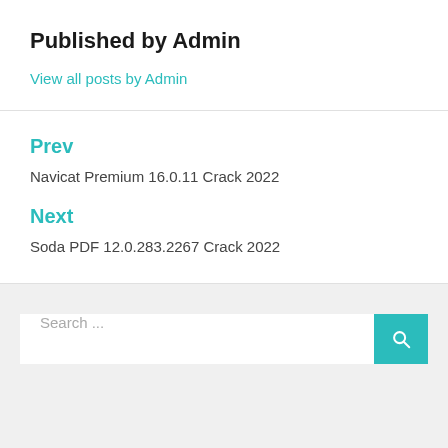Published by Admin
View all posts by Admin
Prev
Navicat Premium 16.0.11 Crack 2022
Next
Soda PDF 12.0.283.2267 Crack 2022
Search ...